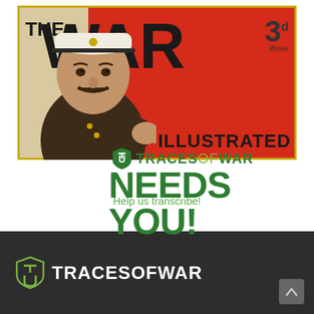[Figure (illustration): World War I era 'The War Illustrated' magazine poster featuring Lord Kitchener in military uniform pointing at the viewer, overlaid with TracesOfWar logo and 'NEEDS YOU!' text. Red and black poster background with large WAR lettering.]
TRACESOFWAR NEEDS YOU!
Help us transcribe!
[Figure (logo): TracesOfWar logo on dark grey/charcoal background footer. Shield icon with T and U letters, followed by TRACESOFWAR text in white. Scroll-up button in bottom right corner.]